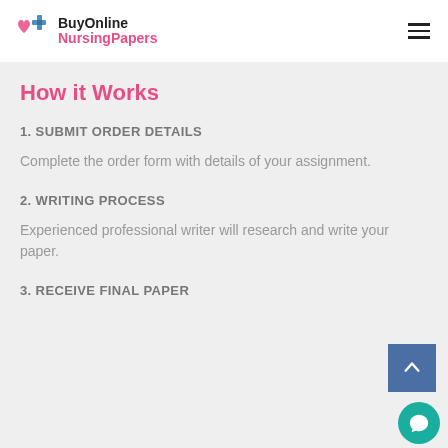BuyOnline NursingPapers
How it Works
1. SUBMIT ORDER DETAILS
Complete the order form with details of your assignment.
2. WRITING PROCESS
Experienced professional writer will research and write your paper.
3. RECEIVE FINAL PAPER